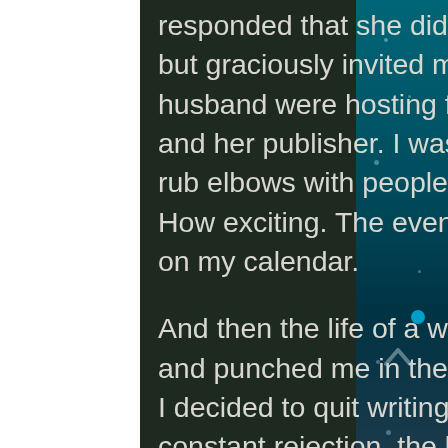responded that she didn't need any more assistance, but graciously invited me to the barbecue she and her husband were hosting for all of the authors, illustrators, and her publisher. I was ecstatic! Finally, I would get to rub elbows with people in my direct field of writing. How exciting. The event was months away, but I put it on my calendar.
And then the life of a writer on submission kicked in and punched me in the face a few too many times and I decided to quit writing. The highs and lows, the constant rejection, the lack of direct support when you live in a small town, it all became too much. I had four young children at home and I needed to